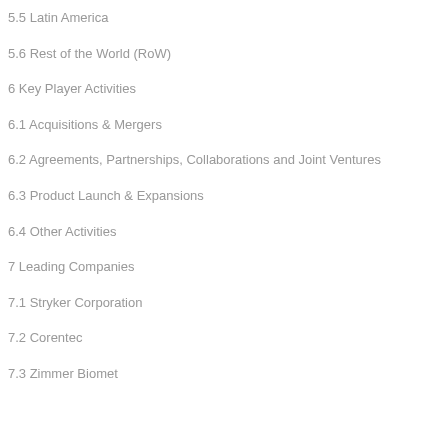5.5 Latin America
5.6 Rest of the World (RoW)
6 Key Player Activities
6.1 Acquisitions & Mergers
6.2 Agreements, Partnerships, Collaborations and Joint Ventures
6.3 Product Launch & Expansions
6.4 Other Activities
7 Leading Companies
7.1 Stryker Corporation
7.2 Corentec
7.3 Zimmer Biomet